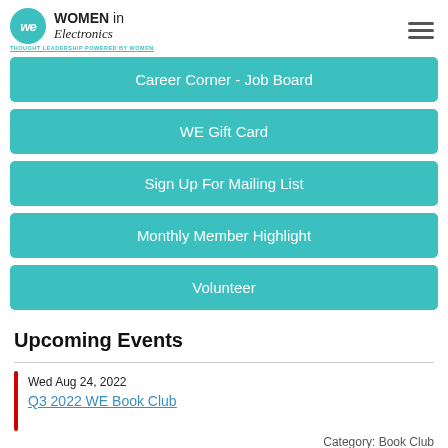WOMEN in Electronics - THOUGHT LEADERSHIP POWERED BY WOMEN
Career Corner - Job Board
WE Gift Card
Sign Up For Mailing List
Monthly Member Highlight
Volunteer
Upcoming Events
Wed Aug 24, 2022
Q3 2022 WE Book Club
Category: Book Club